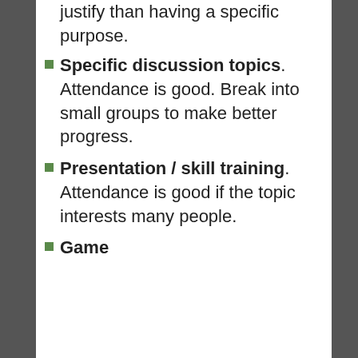justify than having a specific purpose.
Specific discussion topics. Attendance is good. Break into small groups to make better progress.
Presentation / skill training. Attendance is good if the topic interests many people.
Game